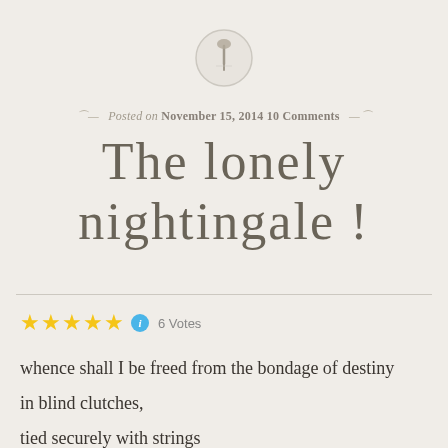[Figure (illustration): A circular pin/thumbtack icon in light gray]
Posted on November 15, 2014 10 Comments
The lonely nightingale !
[Figure (infographic): Five gold star rating icons followed by a blue info circle icon and '6 Votes' text]
whence shall I be freed from the bondage of destiny
in blind clutches,
tied securely with strings
Breathlessly the body sinks,